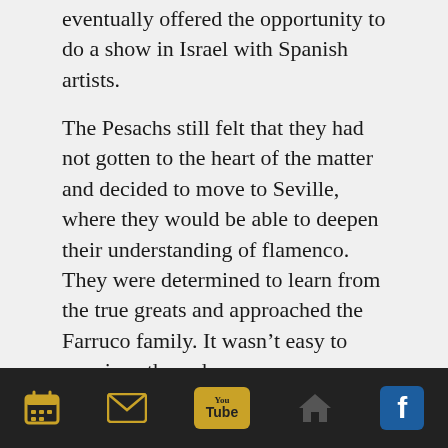eventually offered the opportunity to do a show in Israel with Spanish artists.
The Pesachs still felt that they had not gotten to the heart of the matter and decided to move to Seville, where they would be able to deepen their understanding of flamenco. They were determined to learn from the true greats and approached the Farruco family. It wasn't easy to convince them, however.
La Farruca, the matriarch, finally agreed to see them and asked Keren to dance something for her. Keren danced and Farruca told her: “One day you will dance with me.”
“There was a connection there from the beginning. It was something inexplicable,” says Avner.
[navigation bar with calendar, email, YouTube, and Facebook icons]